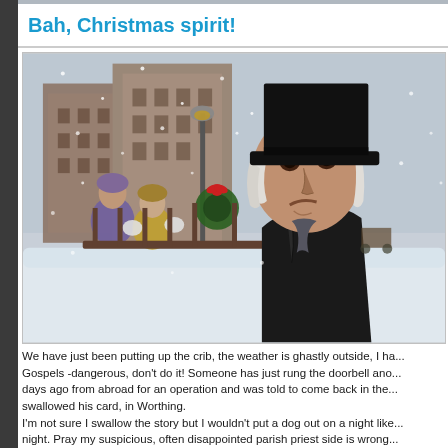Bah, Christmas spirit!
[Figure (photo): A scene from A Christmas Carol showing Scrooge, an elderly grumpy man in a black top hat and dark coat, scowling, with a snowy Victorian street scene in the background including carolers and festive decorations.]
We have just been putting up the crib, the weather is ghastly outside, I ha... Gospels -dangerous, don't do it! Someone has just rung the doorbell ano... days ago from abroad for an operation and was told to come back in the... swallowed his card, in Worthing.
I'm not sure I swallow the story but I wouldn't put a dog out on a night like... night. Pray my suspicious, often disappointed parish priest side is wrong... right and when I get up in the morning the family silver is still here and th... the Christmas mysterios with.